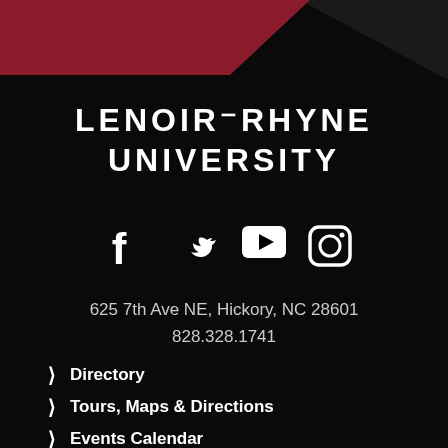[Figure (illustration): Dark red/maroon angular decorative banner shape in top left corner of black background]
LENOIR-RHYNE UNIVERSITY
[Figure (infographic): Social media icons: Facebook, Twitter, YouTube, Instagram — white icons on black background]
625 7th Ave NE, Hickory, NC 28601
828.328.1741
Directory
Tours, Maps & Directions
Events Calendar